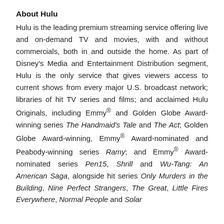About Hulu
Hulu is the leading premium streaming service offering live and on-demand TV and movies, with and without commercials, both in and outside the home. As part of Disney's Media and Entertainment Distribution segment, Hulu is the only service that gives viewers access to current shows from every major U.S. broadcast network; libraries of hit TV series and films; and acclaimed Hulu Originals, including Emmy® and Golden Globe Award-winning series The Handmaid's Tale and The Act; Golden Globe Award-winning, Emmy® Award-nominated and Peabody-winning series Ramy; and Emmy® Award-nominated series Pen15, Shrill and Wu-Tang: An American Saga, alongside hit series Only Murders in the Building, Nine Perfect Strangers, The Great, Little Fires Everywhere, Normal People and Solar